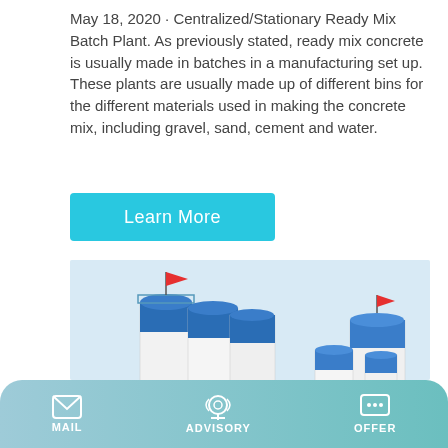May 18, 2020 · Centralized/Stationary Ready Mix Batch Plant. As previously stated, ready mix concrete is usually made in batches in a manufacturing set up. These plants are usually made up of different bins for the different materials used in making the concrete mix, including gravel, sand, cement and water.
Learn More
[Figure (photo): Photo of a centralized/stationary ready mix batch plant facility with multiple large blue and white cylindrical silos, hoppers, conveyor belts, and a central building structure. Red flags visible on top of two silos.]
MAIL   ADVISORY   OFFER